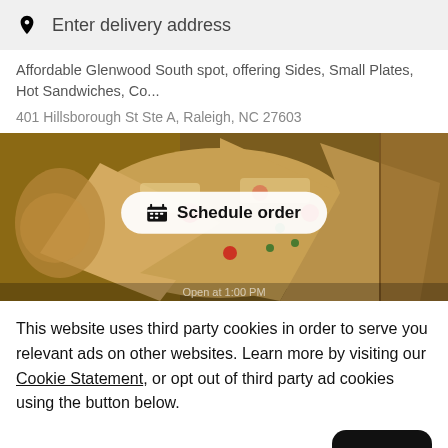Enter delivery address
Affordable Glenwood South spot, offering Sides, Small Plates, Hot Sandwiches, Co...
401 Hillsborough St Ste A, Raleigh, NC 27603
[Figure (photo): Photo of pizza slices on a plate with a 'Schedule order' button overlay]
This website uses third party cookies in order to serve you relevant ads on other websites. Learn more by visiting our Cookie Statement, or opt out of third party ad cookies using the button below.
Opt out
Got it